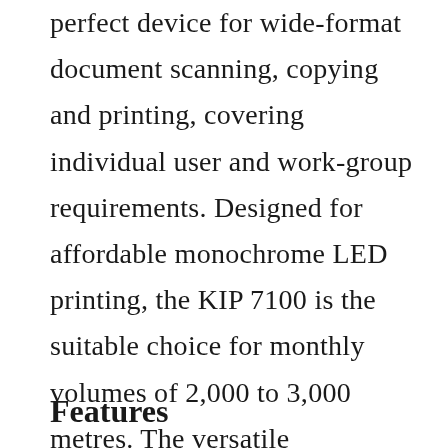perfect device for wide-format document scanning, copying and printing, covering individual user and work-group requirements. Designed for affordable monochrome LED printing, the KIP 7100 is the suitable choice for monthly volumes of 2,000 to 3,000 metres. The versatile multifunctional system features a multi cut-sheet cassette, two roll feeds and enhanced stacking and folding capabilities.
Features